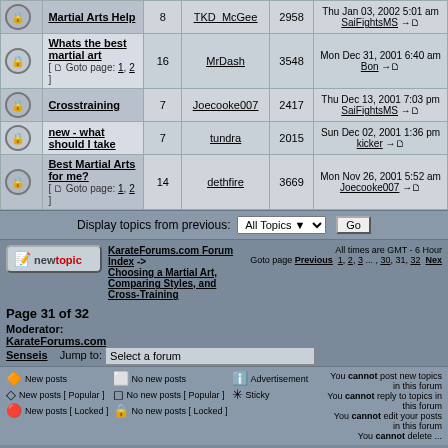|  | Topic | Replies | Author | Views | Last Post |
| --- | --- | --- | --- | --- | --- |
| [lock] | Martial Arts Help | 8 | TKD_McGee | 2958 | Thu Jan 03, 2002 5:01 am SaiFightsMS → |
| [lock] | Whats the best martial art [Goto page: 1, 2] | 16 | MrDash | 3548 | Mon Dec 31, 2001 6:40 am Bon → |
| [lock] | Crosstraining | 7 | Joecooke007 | 2417 | Thu Dec 13, 2001 7:03 pm SaiFightsMS → |
| [lock] | new - what should I take | 7 | tundra | 2015 | Sun Dec 02, 2001 1:36 pm kicker → |
| [lock] | Best Martial Arts for me? [Goto page: 1, 2] | 14 | dethfire | 3669 | Mon Nov 26, 2001 5:52 am Joecooke007 → |
Display topics from previous: All Topics  Go
KarateForums.com Forum Index -> Choosing a Martial Art, Comparing Styles, and Cross-Training
Goto page Previous  1, 2, 3 ... , 30, 31, 32  Next
All times are GMT - 6 Hour
Page 31 of 32
Moderator: KarateForums.com Senseis
Jump to: Select a forum
New posts | No new posts | Advertisement | Sticky
You cannot post new topics in this forum
You cannot reply to topics in this forum
You cannot edit your posts in this forum
You cannot delete ...